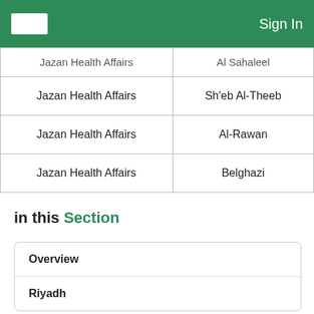Sign In
| Jazan Health Affairs | Al Sahaleel |
| Jazan Health Affairs | Sh'eb Al-Theeb |
| Jazan Health Affairs | Al-Rawan |
| Jazan Health Affairs | Belghazi |
in this Section
Overview
Riyadh